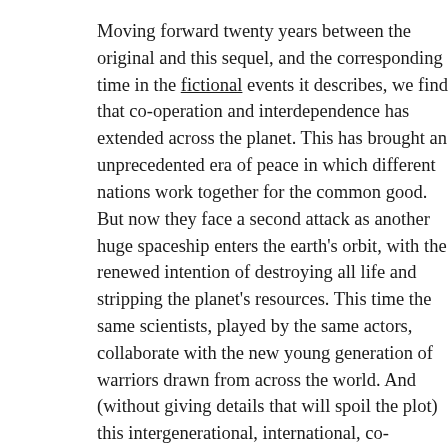Moving forward twenty years between the original and this sequel, and the corresponding time in the fictional events it describes, we find that co-operation and interdependence has extended across the planet. This has brought an unprecedented era of peace in which different nations work together for the common good. But now they face a second attack as another huge spaceship enters the earth's orbit, with the renewed intention of destroying all life and stripping the planet's resources. This time the same scientists, played by the same actors, collaborate with the new young generation of warriors drawn from across the world. And (without giving details that will spoil the plot) this intergenerational, international, co-operation is even set in the wider context of the need for galactic interplanetary collaboration.
Throughout history, art has often provided a critical counterpoint to existing cultural assumptions and this example of cinematic art continues in that tradition as it invites us to reflect on the importance of co-operation...